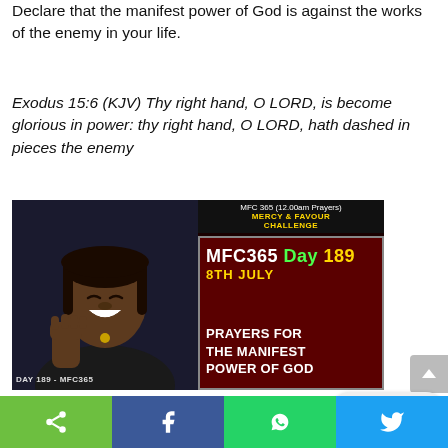Declare that the manifest power of God is against the works of the enemy in your life.
Exodus 15:6 (KJV) Thy right hand, O LORD, is become glorious in power: thy right hand, O LORD, hath dashed in pieces the enemy
[Figure (photo): Split image: left side shows a smiling woman with braided hair making a fist, overlaid with text 'DAY 189 - MFC365'. Right side is a dark red background with text 'MFC 365 (12.00am Prayers) MERCY & FAVOUR CHALLENGE', then 'MFC365 Day 189', '8TH JULY', 'PRAYERS FOR THE MANIFEST POWER OF GOD'.]
Desire for the Month
Pray for your desires this month